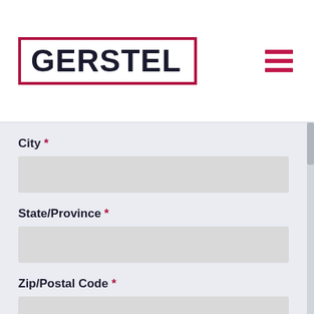GERSTEL
City *
State/Province *
Zip/Postal Code *
Country *